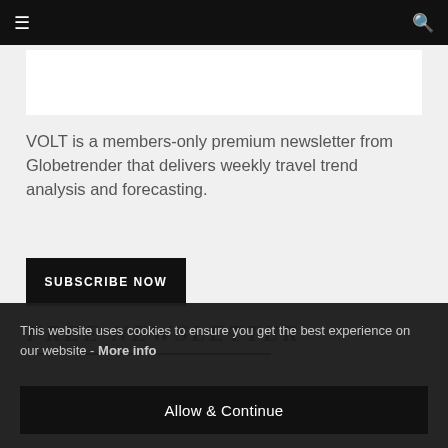☰ [navigation] 🔍
[Figure (other): White image/banner placeholder box]
VOLT is a members-only premium newsletter from Globetrender that delivers weekly travel trend analysis and forecasting.
SUBSCRIBE NOW
FREE NEWSLETTER
[Figure (other): Dark navy blue bar, partial view of newsletter content area]
This website uses cookies to ensure you get the best experience on our website - More info
Allow & Continue